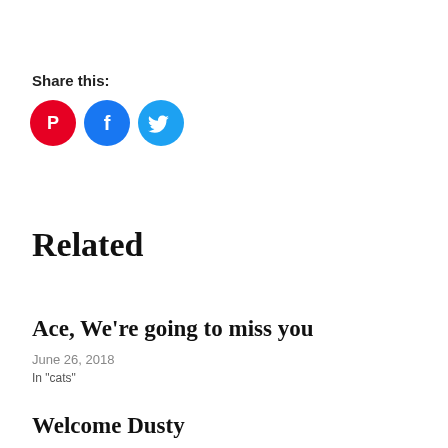Share this:
[Figure (infographic): Three social media share icon circles: Pinterest (red), Facebook (blue), Twitter (light blue)]
Related
Ace, We're going to miss you
June 26, 2018
In "cats"
Welcome Dusty